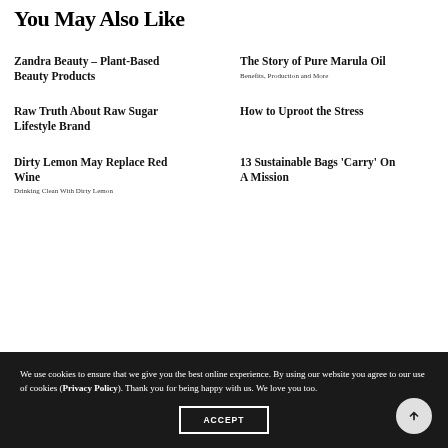You May Also Like
Zandra Beauty – Plant-Based Beauty Products
The Story of Pure Marula Oil
Benefits, Production and More
Raw Truth About Raw Sugar Lifestyle Brand
How to Uproot the Stress
Dirty Lemon May Replace Red Wine
Drinking Clean With Dirty Lemon
13 Sustainable Bags 'Carry' On A Mission
We use cookies to ensure that we give you the best online experience. By using our website you agree to our use of cookies (Privacy Policy). Thank you for being happy with us. We love you too.
ACCEPT